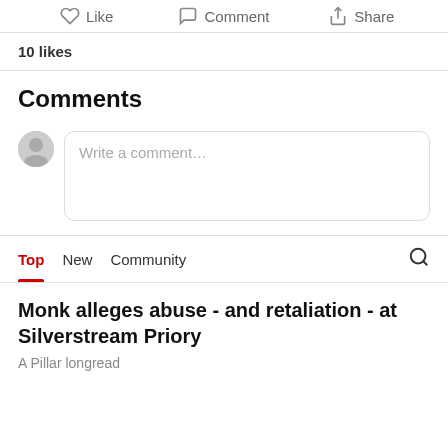Like   Comment   Share
10 likes
Comments
Write a comment…
Top   New   Community
Monk alleges abuse - and retaliation - at Silverstream Priory
A Pillar longread